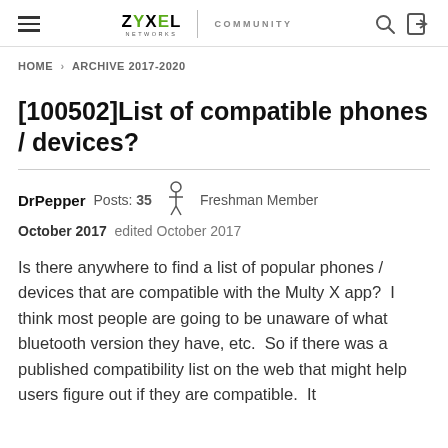ZYXEL NETWORKS | COMMUNITY
HOME › ARCHIVE 2017-2020
[100502]List of compatible phones / devices?
DrPepper  Posts: 35  [avatar]  Freshman Member
October 2017  edited October 2017
Is there anywhere to find a list of popular phones / devices that are compatible with the Multy X app?  I think most people are going to be unaware of what bluetooth version they have, etc.  So if there was a published compatibility list on the web that might help users figure out if they are compatible.  It